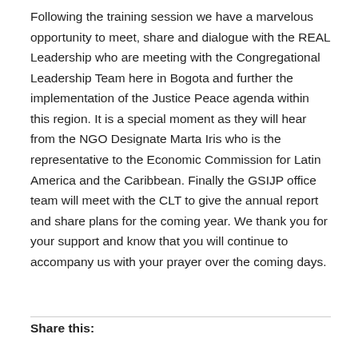Following the training session we have a marvelous opportunity to meet, share and dialogue with the REAL Leadership who are meeting with the Congregational Leadership Team here in Bogota and further the implementation of the Justice Peace agenda within this region. It is a special moment as they will hear from the NGO Designate Marta Iris who is the representative to the Economic Commission for Latin America and the Caribbean. Finally the GSIJP office team will meet with the CLT to give the annual report and share plans for the coming year. We thank you for your support and know that you will continue to accompany us with your prayer over the coming days.
Share this: